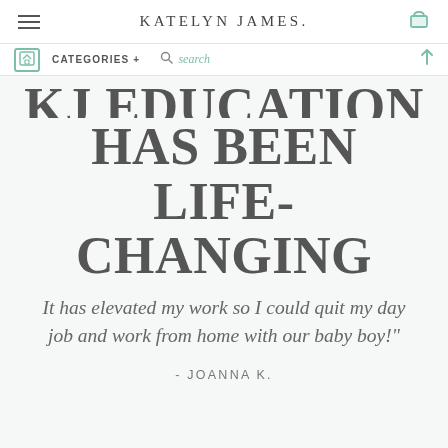KATELYN JAMES.
CATEGORIES + search
KJ EDUCATION HAS BEEN LIFE-CHANGING
It has elevated my work so I could quit my day job and work from home with our baby boy!"
- JOANNA K.